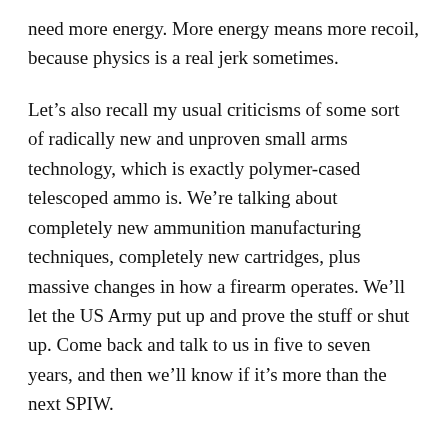need more energy. More energy means more recoil, because physics is a real jerk sometimes.
Let’s also recall my usual criticisms of some sort of radically new and unproven small arms technology, which is exactly polymer-cased telescoped ammo is. We’re talking about completely new ammunition manufacturing techniques, completely new cartridges, plus massive changes in how a firearm operates. We’ll let the US Army put up and prove the stuff or shut up. Come back and talk to us in five to seven years, and then we’ll know if it’s more than the next SPIW.
Okay, so that should deal with all the WONDERCALIBER advocates. Don’t trust Big Army to buy crazy new stuff. Wait for ambitious programs to come to a conclusion. Don’t be a beta tester. Wait for bugs to get worked out. And there will be bugs.
If we’re sticking with conventional calibers and known